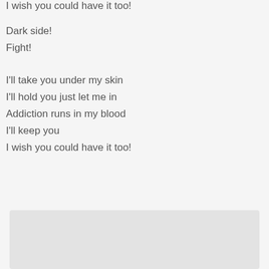I wish you could have it too!
Dark side!
Fight!
I'll take you under my skin
I'll hold you just let me in
Addiction runs in my blood
I'll keep you
I wish you could have it too!
[Figure (screenshot): Music player bar with play button, text 'Play "Addiction" on Apple Music', and volume button]
[Figure (other): Gray placeholder box at the bottom of the page]